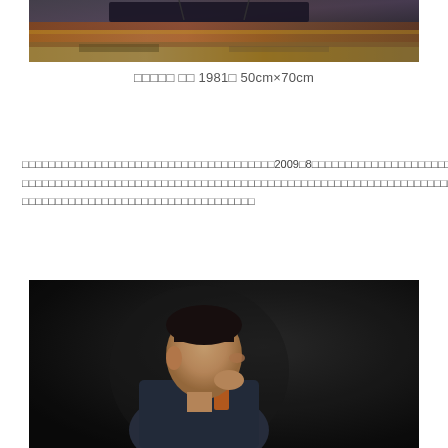[Figure (photo): A painting or photo showing abstract landscape with warm golden, orange, and brown tones with dark shapes, top portion only visible]
□□□□□ □□ 1981□ 50cm×70cm
□□□□□□□□□□□□□□□□□□□□□□□□□□□□□□2009□8□□□□□□□□□□□□□□□□□□□□□□□□□□□□□□□□□□□□□□□□□□□□□□□□□□□□□□□□□□□□□□□□□□□□□□□□□□□□□□□□□□□□□□□□□□□□□□□□□□□□□□□□□□□□□□□□□□□
[Figure (photo): Portrait painting of a man in profile view against a dark background, wearing what appears to be a military or formal uniform with orange accent]